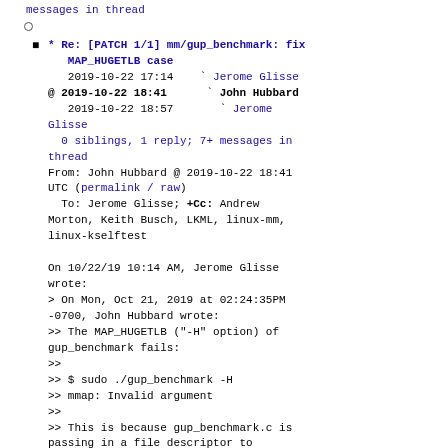messages in thread (truncated at top)
○ (empty bullet)
* Re: [PATCH 1/1] mm/gup_benchmark: fix MAP_HUGETLB case
2019-10-22 17:14   ` Jerome Glisse
@ 2019-10-22 18:41     ` John Hubbard
  2019-10-22 18:57       ` Jerome Glisse
  0 siblings, 1 reply; 7+ messages in thread
From: John Hubbard @ 2019-10-22 18:41 UTC (permalink / raw)
  To: Jerome Glisse; +Cc: Andrew Morton, Keith Busch, LKML, linux-mm, linux-kselftest

On 10/22/19 10:14 AM, Jerome Glisse wrote:
> On Mon, Oct 21, 2019 at 02:24:35PM -0700, John Hubbard wrote:
>> The MAP_HUGETLB ("-H" option) of gup_benchmark fails:
>>
>> $ sudo ./gup_benchmark -H
>> mmap: Invalid argument
>>
>> This is because gup_benchmark.c is passing in a file descriptor to
>> mmap(), but the fd came from opening